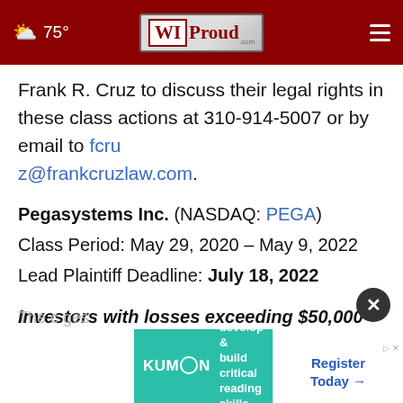75° WIProud.com
Frank R. Cruz to discuss their legal rights in these class actions at 310-914-5007 or by email to fcruz@frankcruzlaw.com.
Pegasystems Inc. (NASDAQ: PEGA)
Class Period: May 29, 2020 – May 9, 2022
Lead Plaintiff Deadline: July 18, 2022
Investors with losses exceeding $50,000 are encouraged to contact the firm
The c...ges
[Figure (other): Kumon advertisement banner: develop & build critical reading skills. Register Today →]